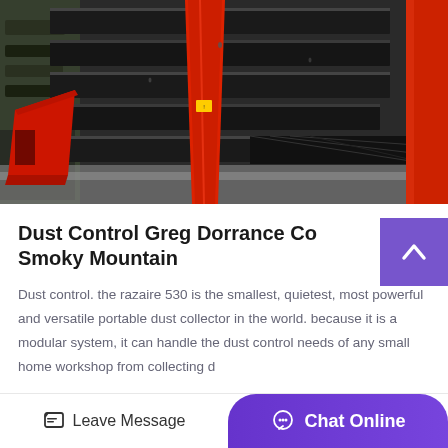[Figure (photo): Industrial vibrating screen / sieving machine with black corrugated metal screen panels and bright red structural support frames, photographed in a factory setting.]
Dust Control Greg Dorrance Co Smoky Mountain
Dust control. the razaire 530 is the smallest, quietest, most powerful and versatile portable dust collector in the world. because it is a modular system, it can handle the dust control needs of any small home workshop from collecting d...